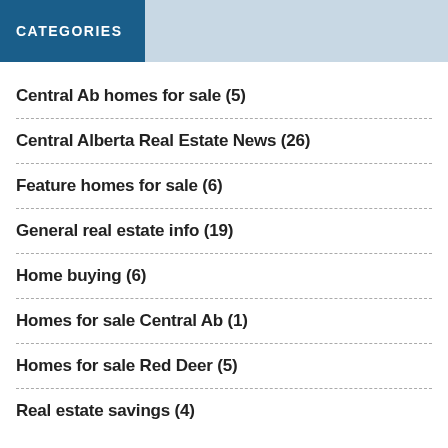CATEGORIES
Central Ab homes for sale (5)
Central Alberta Real Estate News (26)
Feature homes for sale (6)
General real estate info (19)
Home buying (6)
Homes for sale Central Ab (1)
Homes for sale Red Deer (5)
Real estate savings (4)